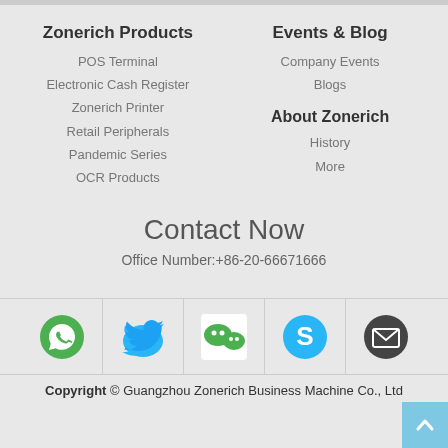Zonerich Products
POS Terminal
Electronic Cash Register
Zonerich Printer
Retail Peripherals
Pandemic Series
OCR Products
Events & Blog
Company Events
Blogs
About Zonerich
History
More
Contact Now
Office Number:+86-20-66671666
[Figure (infographic): Social media icons row: WhatsApp (green phone), Twitter (blue bird), WeChat (green bubbles), Skype (blue S), Email (dark envelope)]
Copyright © Guangzhou Zonerich Business Machine Co., Ltd